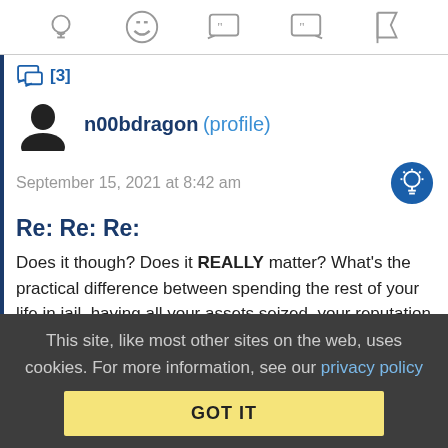[Figure (other): Toolbar with icons: lightbulb, laughing emoji, open-quote speech bubble, close-quote speech bubble, flag]
[3]
n00bdragon (profile)
September 15, 2021 at 8:42 am
Re: Re: Re:
Does it though? Does it REALLY matter? What's the practical difference between spending the rest of your life in jail, having all your assets seized, your reputation dragged through the mud
This site, like most other sites on the web, uses cookies. For more information, see our privacy policy
GOT IT